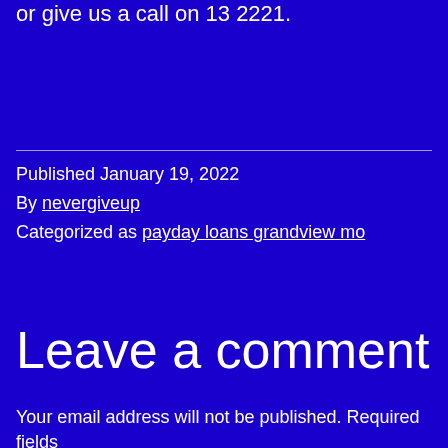or give us a call on 13 2221.
Published January 19, 2022
By nevergiveup
Categorized as payday loans grandview mo
Leave a comment
Your email address will not be published. Required fields